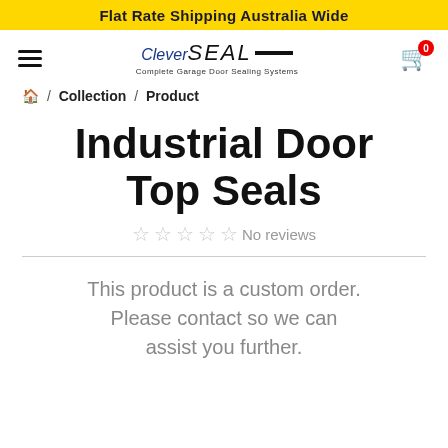Flat Rate Shipping Australia Wide
[Figure (logo): CleverSeal logo - Complete Garage Door Sealing Systems]
/ Collection / Product
Industrial Door Top Seals
No reviews
This product is a custom order. Please contact so we can assist you further.